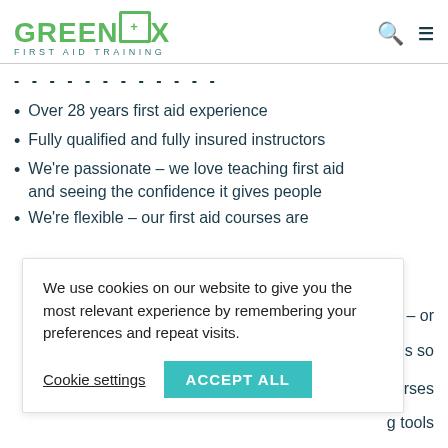[Figure (logo): Greenbox First Aid Training logo — green bold uppercase text with a first aid kit icon replacing the 'O' in 'BOX', with 'FIRST AID TRAINING' subtitle in teal below]
Over 28 years first aid experience
Fully qualified and fully insured instructors
We're passionate – we love teaching first aid and seeing the confidence it gives people
We're flexible – our first aid courses are
We use cookies on our website to give you the most relevant experience by remembering your preferences and repeat visits.
Cookie settings   ACCEPT ALL
d the UK – or
bligations so
ng courses
g tools